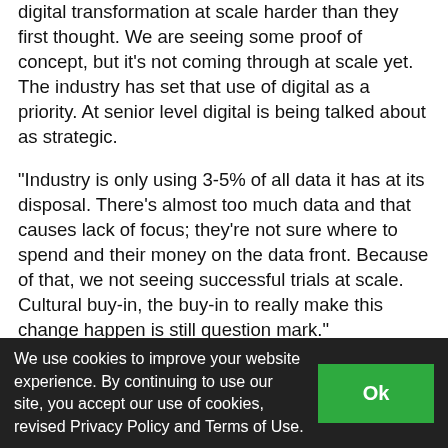digital transformation at scale harder than they first thought. We are seeing some proof of concept, but it's not coming through at scale yet. The industry has set that use of digital as a priority. At senior level digital is being talked about as strategic.
“Industry is only using 3-5% of all data it has at its disposal. There’s almost too much data and that causes lack of focus; they’re not sure where to spend and their money on the data front. Because of that, we not seeing successful trials at scale. Cultural buy-in, the buy-in to really make this change happen is still question mark.”
Indeed, speaking at the same event, Justin Bounce, EVP and CTO at TechnipFMC, says
We use cookies to improve your website experience. By continuing to use our site, you accept our use of cookies, revised Privacy Policy and Terms of Use.